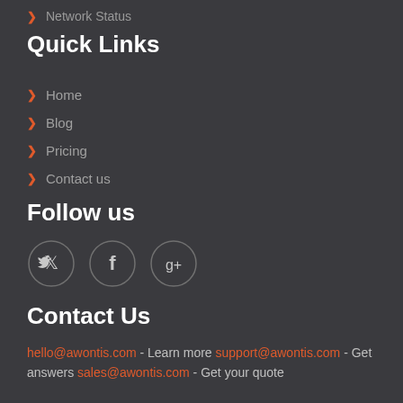> Network Status
Quick Links
> Home
> Blog
> Pricing
> Contact us
Follow us
[Figure (illustration): Three circular social media icons: Twitter (bird), Facebook (f), Google+ (g+)]
Contact Us
hello@awontis.com - Learn more support@awontis.com - Get answers sales@awontis.com - Get your quote